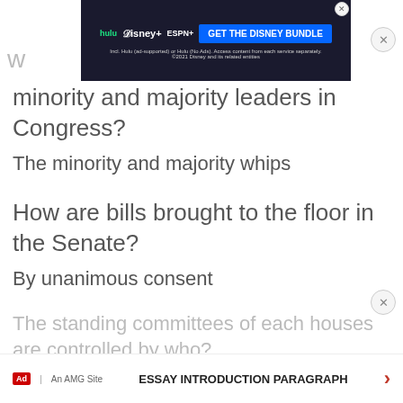[Figure (screenshot): Disney Bundle advertisement banner showing Hulu, Disney+, ESPN+ logos with 'GET THE DISNEY BUNDLE' button]
minority and majority leaders in Congress?
The minority and majority whips
How are bills brought to the floor in the Senate?
By unanimous consent
The standing committees of each houses are controlled by who?
The majority party
[Figure (screenshot): Bottom advertisement bar: 'ESSAY INTRODUCTION PARAGRAPH' with arrow, Ad label and 'An AMG Site']